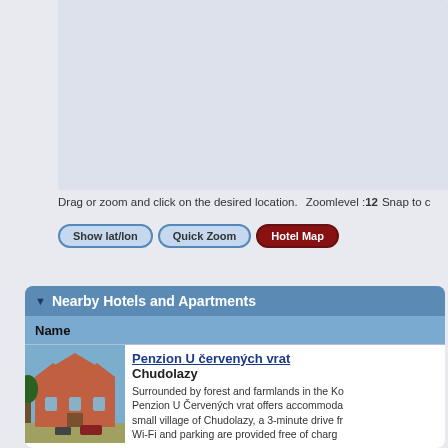[Figure (screenshot): Map panel with light gray/blue background representing an interactive map area]
Drag or zoom and click on the desired location.   Zoomlevel :12   Snap to c
Show lat/lon   Quick Zoom   Hotel Map
Nearby Hotels and Apartments
| Name |
| --- |
| Penzion U červených vrat
Chudolazy
Surrounded by forest and farmlands in the Ko... Penzion U Červených vrat offers accommoda... small village of Chudolazy, a 3-minute drive fr... Wi-Fi and parking are provided free of charg... |
Penzion U červených vrat
Chudolazy
Surrounded by forest and farmlands in the Ko Penzion U Červených vrat offers accommoda small village of Chudolazy, a 3-minute drive fr Wi-Fi and parking are provided free of charg